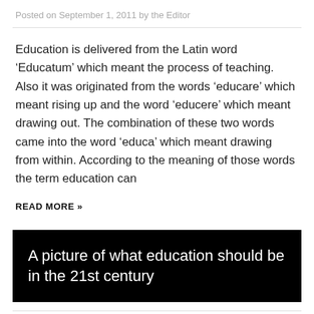Posted on September 1, 2011 by the Editor
Education is delivered from the Latin word ‘Educatum’ which meant the process of teaching. Also it was originated from the words ‘educare’ which meant rising up and the word ‘educere’ which meant drawing out. The combination of these two words came into the word ‘educa’ which meant drawing from within. According to the meaning of those words the term education can
READ MORE »
A picture of what education should be in the 21st century
Posted on August 23, 2011 by the Editor